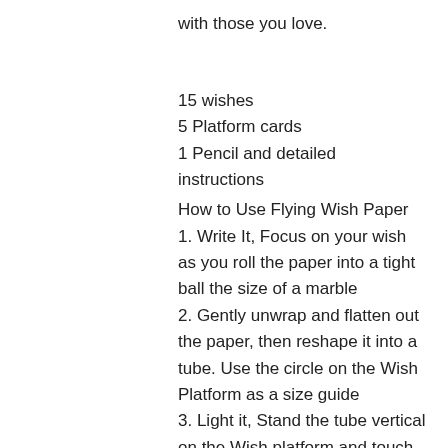with those you love.
15 wishes
5 Platform cards
1 Pencil and detailed instructions
How to Use Flying Wish Paper
1. Write It, Focus on your wish as you roll the paper into a tight ball the size of a marble
2. Gently unwrap and flatten out the paper, then reshape it into a tube. Use the circle on the Wish Platform as a size guide
3. Light it, Stand the tube vertical on the Wish platform and touch a match to the top edge. Don't blow out the match in the direction of the tube. If it topples, it's easy to